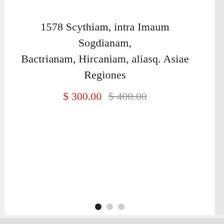1578 Scythiam, intra Imaum Sogdianam, Bactrianam, Hircaniam, aliasq. Asiae Regiones
$ 300.00  $ 400.00